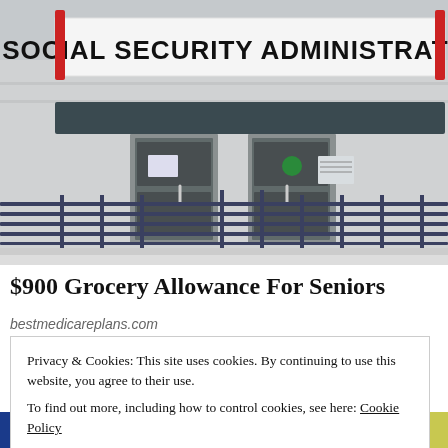[Figure (photo): Photograph of the exterior of a Social Security Administration building. The building has a large sign reading 'SOCIAL SECURITY ADMINISTRATION' above glass entrance doors with metal railings and ramp in front.]
$900 Grocery Allowance For Seniors
bestmedicareplans.com
Privacy & Cookies: This site uses cookies. By continuing to use this website, you agree to their use.
To find out more, including how to control cookies, see here: Cookie Policy
[Figure (photo): Partial bottom strip photo showing grocery store or market shelves with colorful products.]